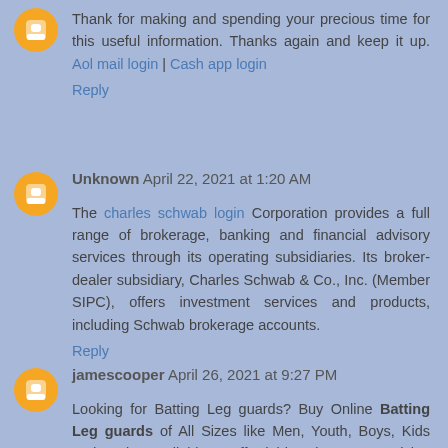Thank for making and spending your precious time for this useful information. Thanks again and keep it up. Aol mail login | Cash app login
Reply
Unknown  April 22, 2021 at 1:20 AM
The charles schwab login Corporation provides a full range of brokerage, banking and financial advisory services through its operating subsidiaries. Its broker-dealer subsidiary, Charles Schwab & Co., Inc. (Member SIPC), offers investment services and products, including Schwab brokerage accounts.
Reply
jamescooper  April 26, 2021 at 9:27 PM
Looking for Batting Leg guards? Buy Online Batting Leg guards of All Sizes like Men, Youth, Boys, Kids and Junior Available at affordable price at NZ Cricket Store. We